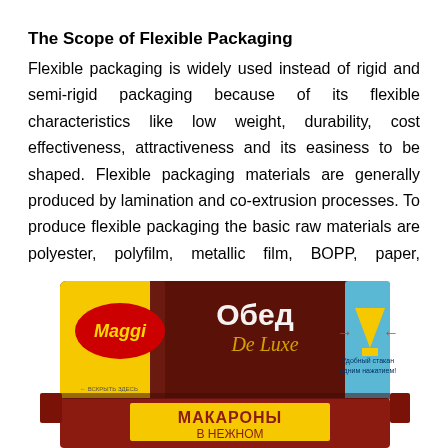The Scope of Flexible Packaging
Flexible packaging is widely used instead of rigid and semi-rigid packaging because of its flexible characteristics like low weight, durability, cost effectiveness, attractiveness and its easiness to be shaped. Flexible packaging materials are generally produced by lamination and co-extrusion processes. To produce flexible packaging the basic raw materials are polyester, polyfilm, metallic film, BOPP, paper, adhesive etc.
[Figure (photo): Maggi Obied De Luxe flexible packaging product — a flat rectangular food package with yellow and dark brown/maroon color scheme, Cyrillic text reading 'Обед De Luxe' and 'МАКАРОНЫ В НЕЖНОМ', Maggi logo on the left, and a graphic of a cup on the right side.]